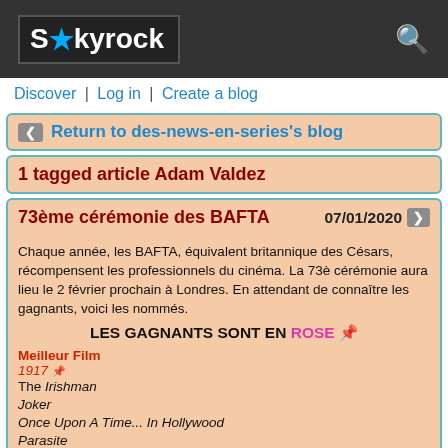Skyrock
Discover | Log in | Create a blog
Return to des-news-en-series's blog
1 tagged article Adam Valdez
73ème cérémonie des BAFTA  07/01/2020
Chaque année, les BAFTA, équivalent britannique des Césars, récompensent les professionnels du cinéma. La 73è cérémonie aura lieu le 2 février prochain à Londres. En attendant de connaître les gagnants, voici les nommés.
LES GAGNANTS SONT EN ROSE 🌸
Meilleur Film
1917 🌸
The Irishman
Joker
Once Upon A Time... In Hollywood
Parasite
Meilleur film britannique
1917 🌸
Bait
Pour Sama
Rocketman
Sorry We Missed You
Les deux Papes...